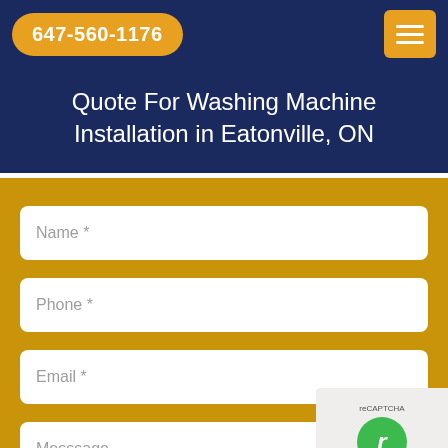647-560-1176
Quote For Washing Machine Installation in Eatonville, ON
Name *
Phone *
Email *
Messsage